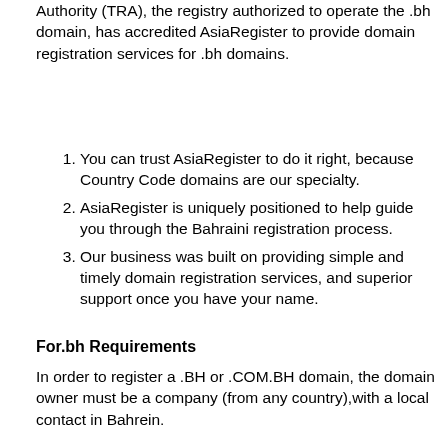Authority (TRA), the registry authorized to operate the .bh domain, has accredited AsiaRegister to provide domain registration services for .bh domains.
You can trust AsiaRegister to do it right, because Country Code domains are our specialty.
AsiaRegister is uniquely positioned to help guide you through the Bahraini registration process.
Our business was built on providing simple and timely domain registration services, and superior support once you have your name.
For.bh Requirements
In order to register a .BH or .COM.BH domain, the domain owner must be a company (from any country),with a local contact in Bahrein.